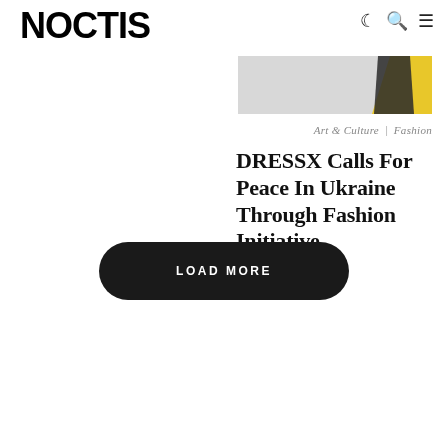NOCTIS
[Figure (photo): Partial thumbnail image showing a fashion figure with yellow and dark tones]
Art & Culture   Fashion
DRESSX Calls For Peace In Ukraine Through Fashion Initiative
LOAD MORE